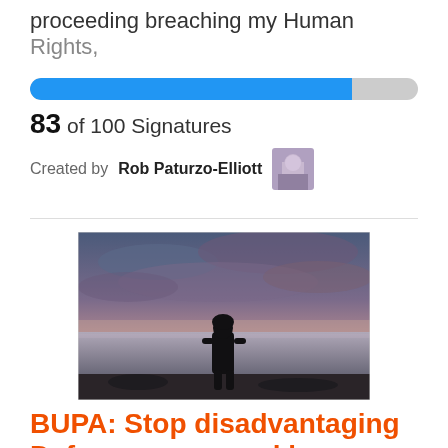proceeding breaching my Human Rights,
[Figure (other): Progress bar showing 83 of 100 signatures, approximately 83% filled in blue]
83 of 100 Signatures
Created by Rob Paturzo-Elliott
[Figure (photo): Silhouette of a person standing on a rocky shoreline looking out at a calm body of water under a dramatic cloudy sky at dusk]
BUPA: Stop disadvantaging Defence personnel by restricting their choice of Psychologist